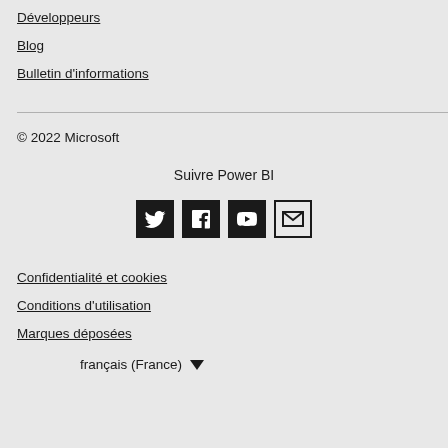Développeurs
Blog
Bulletin d'informations
© 2022 Microsoft
Suivre Power BI
[Figure (infographic): Social media icons: Twitter (black square), Facebook (black square), YouTube (black square), Email (outlined envelope)]
Confidentialité et cookies
Conditions d'utilisation
Marques déposées
français (France) ▼